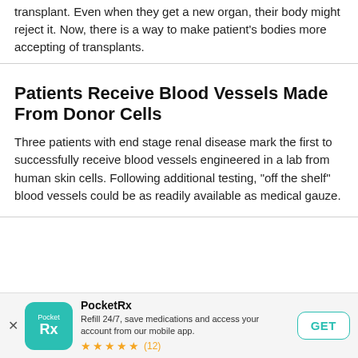transplant. Even when they get a new organ, their body might reject it. Now, there is a way to make patient's bodies more accepting of transplants.
Patients Receive Blood Vessels Made From Donor Cells
Three patients with end stage renal disease mark the first to successfully receive blood vessels engineered in a lab from human skin cells. Following additional testing, "off the shelf" blood vessels could be as readily available as medical gauze.
No Good News for Lupus Patients' Kidneys
In recent years, treatment for lupus nephritis (kidney damage caused by lupus) has gotten better. Yet outcomes for many patients with the disease still do not look good.
PocketRx
Refill 24/7, save medications and access your account from our mobile app.
★★★★★ (12)